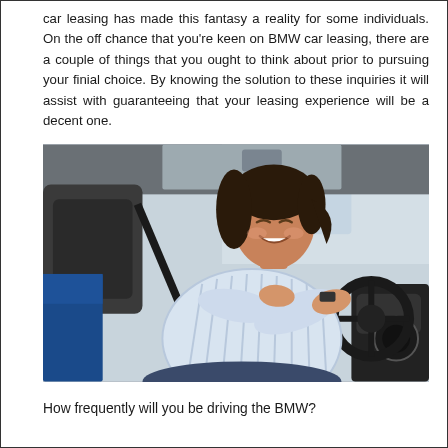car leasing has made this fantasy a reality for some individuals. On the off chance that you're keen on BMW car leasing, there are a couple of things that you ought to think about prior to pursuing your finial choice. By knowing the solution to these inquiries it will assist with guaranteeing that your leasing experience will be a decent one.
[Figure (photo): A smiling woman with dark hair resting her chin on her hands on the steering wheel of a car interior, wearing a light blue striped shirt. The car interior shows seats, dashboard, and sunroof visible.]
How frequently will you be driving the BMW?